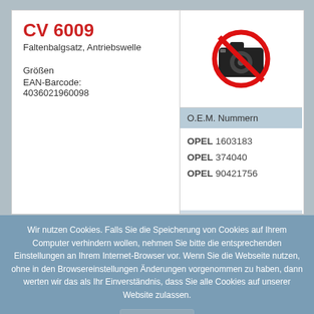CV 6009
Faltenbalgsatz, Antriebswelle
Größen
EAN-Barcode:
4036021960098
[Figure (illustration): No photo available icon: red circle with diagonal line over a camera silhouette]
O.E.M. Nummern
OPEL 1603183
OPEL 374040
OPEL 90421756
Wir nutzen Cookies. Falls Sie die Speicherung von Cookies auf Ihrem Computer verhindern wollen, nehmen Sie bitte die entsprechenden Einstellungen an Ihrem Internet-Browser vor. Wenn Sie die Webseite nutzen, ohne in den Browsereinstellungen Änderungen vorgenommen zu haben, dann werten wir das als Ihr Einverständnis, dass Sie alle Cookies auf unserer Website zulassen.